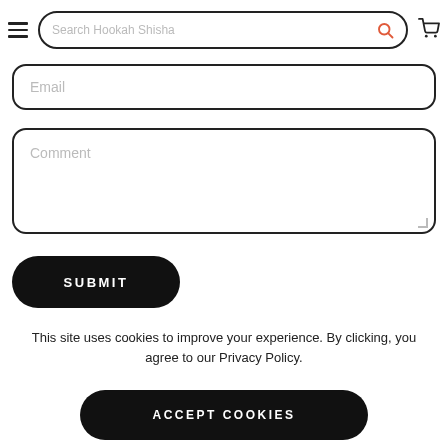Search Hookah Shisha
[Figure (screenshot): Email input field with placeholder text 'Email']
[Figure (screenshot): Comment textarea with placeholder text 'Comment']
[Figure (screenshot): Black rounded SUBMIT button]
This site uses cookies to improve your experience. By clicking, you agree to our Privacy Policy.
[Figure (screenshot): Black rounded ACCEPT COOKIES button]